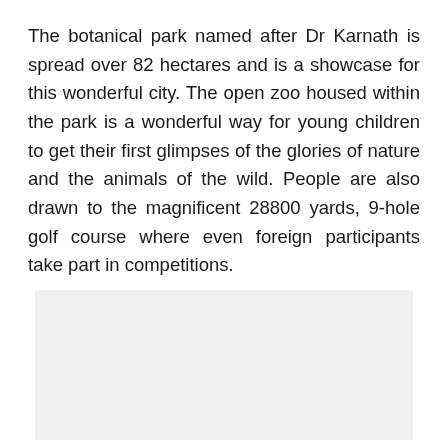The botanical park named after Dr Karnath is spread over 82 hectares and is a showcase for this wonderful city. The open zoo housed within the park is a wonderful way for young children to get their first glimpses of the glories of nature and the animals of the wild. People are also drawn to the magnificent 28800 yards, 9-hole golf course where even foreign participants take part in competitions.
[Figure (photo): Light gray placeholder image box below the text paragraph]